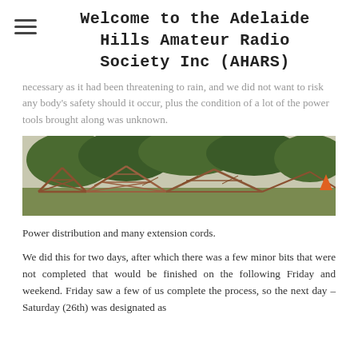Welcome to the Adelaide Hills Amateur Radio Society Inc (AHARS)
necessary as it had been threatening to rain, and we did not want to risk any body's safety should it occur, plus the condition of a lot of the power tools brought along was unknown.
[Figure (photo): Outdoor photo showing metal lattice/truss structures lying on grass with large trees in the background.]
Power distribution and many extension cords.
We did this for two days, after which there was a few minor bits that were not completed that would be finished on the following Friday and weekend. Friday saw a few of us complete the process, so the next day – Saturday (26th) was designated as